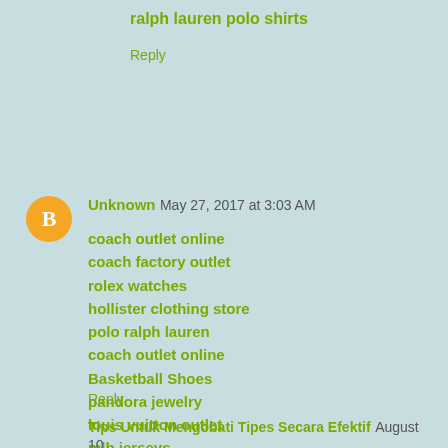ralph lauren polo shirts
Reply
Unknown  May 27, 2017 at 3:03 AM
coach outlet online
coach factory outlet
rolex watches
hollister clothing store
polo ralph lauren
coach outlet online
Basketball Shoes
pandora jewelry
louis vuitton outlet
mlb jerseys
20170527ck
Reply
Tips Untuk Mengobati Tipes Secara Efektif  August 10, 2017 at 12:40 AM